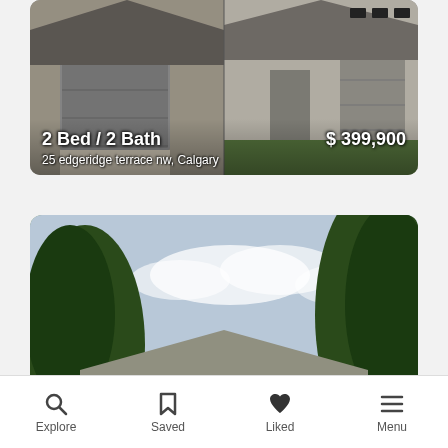[Figure (photo): Partial listing card showing two houses side by side, labeled 2 Bed / 2 Bath at $399,900, address: 25 edgeridge terrace nw, Calgary]
[Figure (photo): Real estate listing photo of a bungalow with blue siding and large lawn, labeled 5 Bed / 2 Bath at $339,900, address: 1507 52 street se, Calgary]
[Figure (photo): Partial listing card partially cut off at the bottom of the page]
Explore | Saved | Liked | Menu